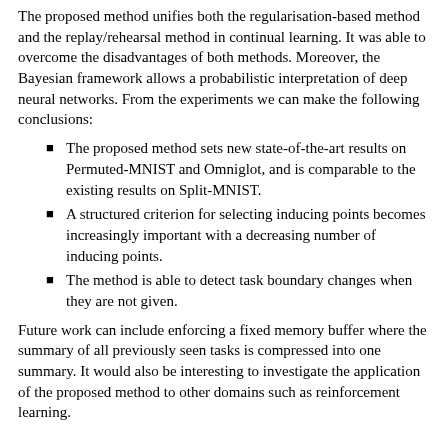The proposed method unifies both the regularisation-based method and the replay/rehearsal method in continual learning. It was able to overcome the disadvantages of both methods. Moreover, the Bayesian framework allows a probabilistic interpretation of deep neural networks. From the experiments we can make the following conclusions:
The proposed method sets new state-of-the-art results on Permuted-MNIST and Omniglot, and is comparable to the existing results on Split-MNIST.
A structured criterion for selecting inducing points becomes increasingly important with a decreasing number of inducing points.
The method is able to detect task boundary changes when they are not given.
Future work can include enforcing a fixed memory buffer where the summary of all previously seen tasks is compressed into one summary. It would also be interesting to investigate the application of the proposed method to other domains such as reinforcement learning.
Critiques